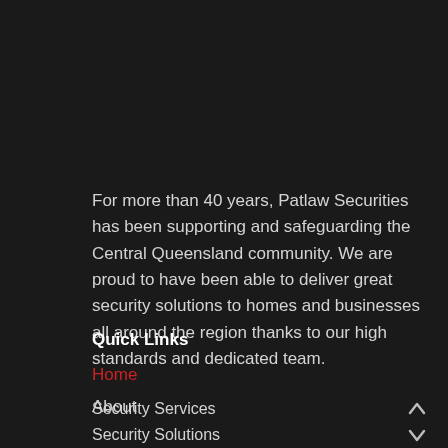For more than 40 years, Patlaw Securities has been supporting and safeguarding the Central Queensland community. We are proud to have been able to deliver great security solutions to homes and businesses all around the region thanks to our high standards and dedicated team.
Quick Links
Home
About
Security Services
Security Solutions